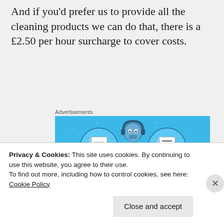And if you'd prefer us to provide all the cleaning products we can do that, there is a £2.50 per hour surcharge to cover costs.
[Figure (illustration): Advertisement banner for Day One journaling app with blue background showing a cartoon person holding a phone, flanked by notebook/journal icons. Text reads 'DAY ONE' and 'The only journaling...']
Privacy & Cookies: This site uses cookies. By continuing to use this website, you agree to their use.
To find out more, including how to control cookies, see here: Cookie Policy
Close and accept